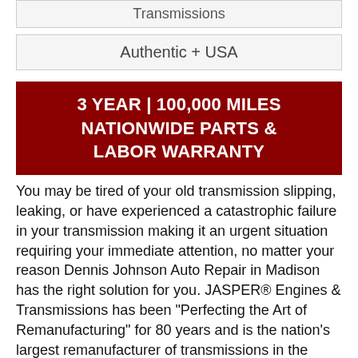Transmissions
Authentic + USA
3 YEAR | 100,000 MILES NATIONWIDE PARTS & LABOR WARRANTY
You may be tired of your old transmission slipping, leaking, or have experienced a catastrophic failure in your transmission making it an urgent situation requiring your immediate attention, no matter your reason Dennis Johnson Auto Repair in Madison has the right solution for you. JASPER® Engines & Transmissions has been "Perfecting the Art of Remanufacturing" for 80 years and is the nation's largest remanufacturer of transmissions in the nation. JASPER® remanufactures a complete line of transmissions backed by a comprehensive 3 Year | 100,000 Mile Nationwide - Parts & Labor Warranty that is fully transferable should you sell your vehicle.